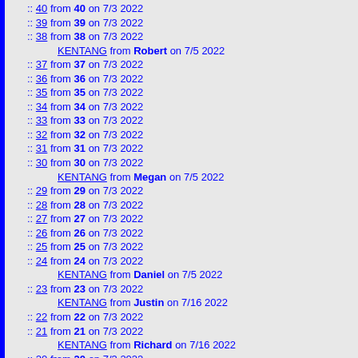:: 40 from 40 on 7/3 2022
:: 39 from 39 on 7/3 2022
:: 38 from 38 on 7/3 2022
KENTANG from Robert on 7/5 2022
:: 37 from 37 on 7/3 2022
:: 36 from 36 on 7/3 2022
:: 35 from 35 on 7/3 2022
:: 34 from 34 on 7/3 2022
:: 33 from 33 on 7/3 2022
:: 32 from 32 on 7/3 2022
:: 31 from 31 on 7/3 2022
:: 30 from 30 on 7/3 2022
KENTANG from Megan on 7/5 2022
:: 29 from 29 on 7/3 2022
:: 28 from 28 on 7/3 2022
:: 27 from 27 on 7/3 2022
:: 26 from 26 on 7/3 2022
:: 25 from 25 on 7/3 2022
:: 24 from 24 on 7/3 2022
KENTANG from Daniel on 7/5 2022
:: 23 from 23 on 7/3 2022
KENTANG from Justin on 7/16 2022
:: 22 from 22 on 7/3 2022
:: 21 from 21 on 7/3 2022
KENTANG from Richard on 7/16 2022
:: 20 from 20 on 7/3 2022
:: 19 from 19 on 7/3 2022
:: 18 from 18 on 7/3 2022
KENTANG from William on 7/5 2022
:: 17 from 17 on 7/3 2022